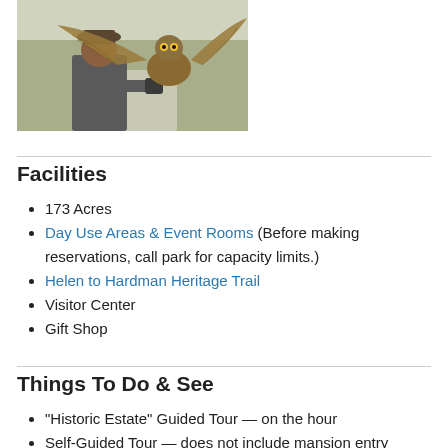[Figure (photo): A man wearing a hat and dark vest with a large owl (wings spread) perched on his gloved hand, outdoors with trees and a path in the background.]
Facilities
173 Acres
Day Use Areas & Event Rooms (Before making reservations, call park for capacity limits.)
Helen to Hardman Heritage Trail
Visitor Center
Gift Shop
Things To Do & See
"Historic Estate" Guided Tour — on the hour
Self-Guided Tour — does not include mansion entry